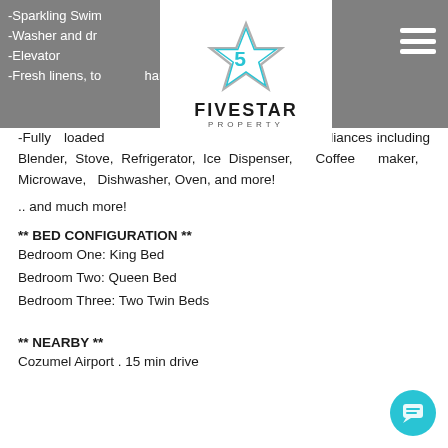-Sparkling Swim... (not private)
-Washer and dr...
-Elevator
-Fresh linens, to... hampoos
[Figure (logo): Five Star Property logo with star icon and text FIVESTAR PROPERTY]
-Fully loaded ...ew, top-of-the-line appliances including Blender, Stove, Refrigerator, Ice Dispenser, Coffee maker, Microwave, Dishwasher, Oven, and more!
.. and much more!
** BED CONFIGURATION **
Bedroom One: King Bed
Bedroom Two: Queen Bed
Bedroom Three: Two Twin Beds
** NEARBY **
Cozumel Airport . 15 min drive